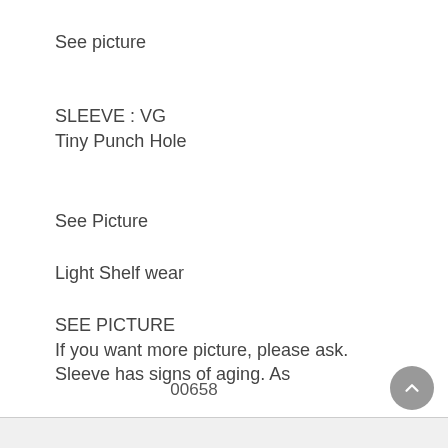See picture
SLEEVE : VG
Tiny Punch Hole
See Picture
Light Shelf wear
SEE PICTURE
If you want more picture, please ask.
Sleeve has signs of aging. As
00658